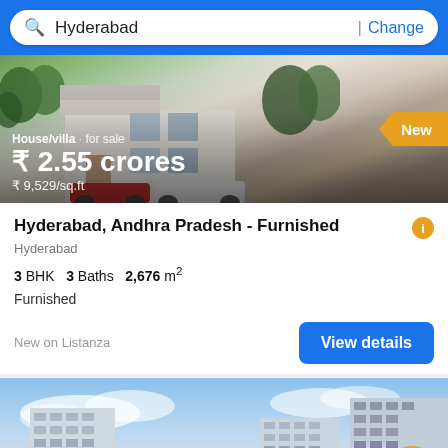Hyderabad | Change
[Figure (photo): House/villa property photo showing a modern white house with trees and a red car parked outside. Overlay showing price ₹ 2.55 crores and ₹ 9,529/sq.ft. New badge visible.]
Hyderabad, Andhra Pradesh - Furnished
Hyderabad
3 BHK  3 Baths  2,676 m²
Furnished
New on Listanza
View details
[Figure (photo): Apartment buildings/skyscrapers against a blue sky. Filter button and 14 pictures badge visible at bottom.]